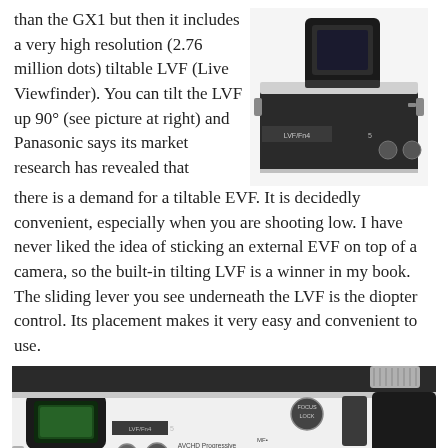than the GX1 but then it includes a very high resolution (2.76 million dots) tiltable LVF (Live Viewfinder). You can tilt the LVF up 90° (see picture at right) and Panasonic says its market research has revealed that there is a demand for a tiltable EVF. It is decidedly convenient, especially when you are shooting low. I have never liked the idea of sticking an external EVF on top of a camera, so the built-in tilting LVF is a winner in my book. The sliding lever you see underneath the LVF is the diopter control. Its placement makes it very easy and convenient to use.
[Figure (photo): Close-up photo of the top section of a Panasonic camera showing the tiltable LVF (Live Viewfinder) tilted up 90 degrees, with LVF/Fn4 label visible and control buttons]
[Figure (photo): Rear view photo of a Panasonic mirrorless camera body showing the viewfinder eyepiece on left, LVF/Fn4 button, AVCHD Progressive label, MF/AF switch, various control buttons including Fn1, Q.MENU, and the rear LCD screen]